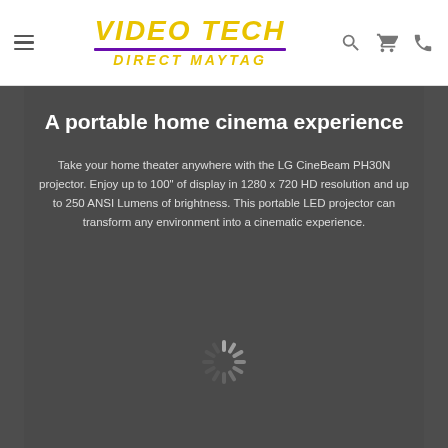[Figure (logo): Video Tech Direct Maytag logo with yellow italic text and purple underline]
A portable home cinema experience
Take your home theater anywhere with the LG CineBeam PH30N projector. Enjoy up to 100" of display in 1280 x 720 HD resolution and up to 250 ANSI Lumens of brightness. This portable LED projector can transform any environment into a cinematic experience.
[Figure (other): Loading spinner graphic (radial spokes pattern)]